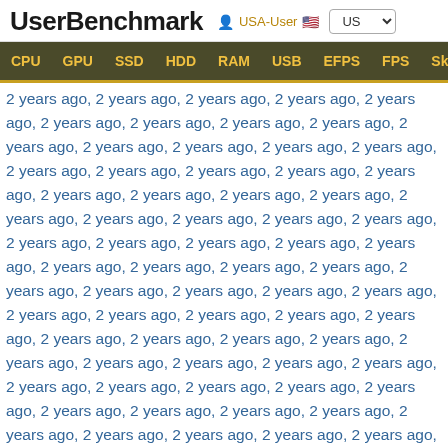UserBenchmark  USA-User  US
CPU  GPU  SSD  HDD  RAM  USB  EFPS  FPS  Sk
2 years ago, 2 years ago, 2 years ago, 2 years ago, 2 years ago, 2 years ago, 2 years ago, 2 years ago, 2 years ago, 2 years ago, 2 years ago, 2 years ago, 2 years ago, 2 years ago, 2 years ago, 2 years ago, 2 years ago, 2 years ago, 2 years ago, 2 years ago, 2 years ago, 2 years ago, 2 years ago, 2 years ago, 2 years ago, 2 years ago, 2 years ago, 2 years ago, 2 years ago, 2 years ago, 2 years ago, 2 years ago, 2 years ago, 2 years ago, 2 years ago, 2 years ago, 2 years ago, 2 years ago, 2 years ago, 2 years ago, 2 years ago, 2 years ago, 2 years ago, 2 years ago, 2 years ago, 2 years ago, 2 years ago, 2 years ago, 2 years ago, 2 years ago, 2 years ago, 2 years ago, 2 years ago, 2 years ago, 2 years ago, 2 years ago, 2 years ago, 2 years ago, 2 years ago, 2 years ago, 2 years ago, 2 years ago, 2 years ago, 2 years ago, 2 years ago, 2 years ago, 2 years ago, 2 years ago, 2 years ago, 2 years ago, 2 years ago, 2 years ago, 2 years ago, 2 years ago, 2 years ago, 2 years ago, 2 years ago, 2 years ago, 2 years ago, 2 years ago, 2 years ago, 2 years ago, 2 years ago, 2 years ago, 2 years ago, 2 years ago, 2 years ago, 2 years ago, 2 years ago, 2 years ago, 2 years ago, 2 years ago, 2 years ago, 2 years ago, 2 years ago, 2 years ago, 2 years ago, 2 years ago, 2 years ago, 2 years ago, 2 years ago, 2 years ago, 2 years ago, 2 years ago, 2 years ago, 2 years ago, 2 years ago, 2 years ago, 2 years ago, 2 years ago